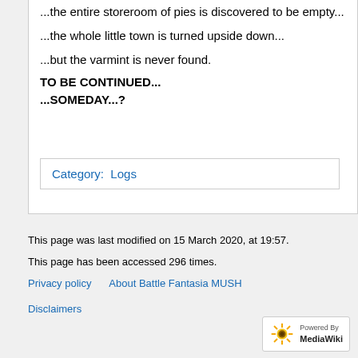...the entire storeroom of pies is discovered to be empty...
...the whole little town is turned upside down...
...but the varmint is never found.
TO BE CONTINUED...
...SOMEDAY...?
Category:  Logs
This page was last modified on 15 March 2020, at 19:57.
This page has been accessed 296 times.
Privacy policy   About Battle Fantasia MUSH   Disclaimers